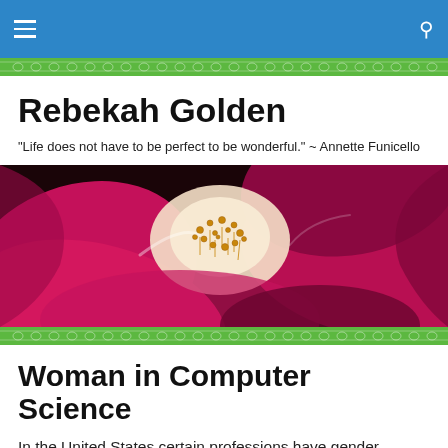Navigation bar with menu and search icons
Rebekah Golden
"Life does not have to be perfect to be wonderful." ~ Annette Funicello
[Figure (photo): Close-up macro photograph of a bright pink/magenta flower with yellow stamens in the center, dark background]
Woman in Computer Science
In the United States certain professions have gender attached. You can be a nurse or a male nurse, a teacher or a male teacher, a chef or a female chef, a computer